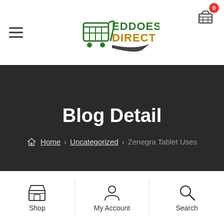[Figure (logo): Eddoes Direct logo with shopping cart icon, green and gold/brown text]
Blog Detail
Home › Uncategorized › Zenegra Tablet Uses
Uncategorized · August 23, 2021 · by chetan p
Shop | My Account | Search